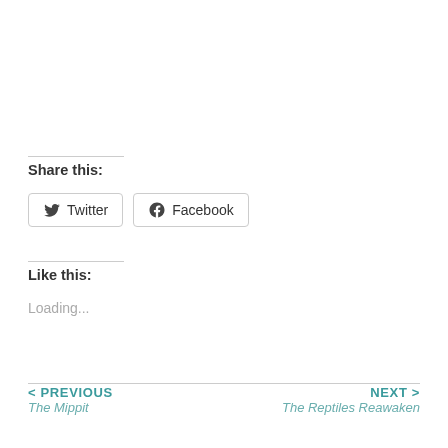Share this:
[Figure (other): Twitter and Facebook share buttons]
Like this:
Loading...
< PREVIOUS
The Mippit
NEXT >
The Reptiles Reawaken